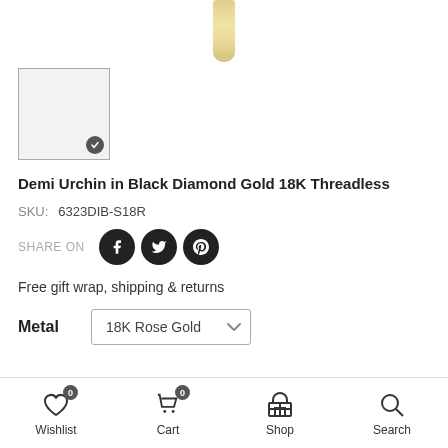[Figure (photo): Partial view of a gold jewelry piece (earring or pendant) shown from above, cropped at top of page]
[Figure (photo): Small thumbnail image box with checkmark indicator, showing selected product thumbnail]
Demi Urchin in Black Diamond Gold 18K Threadless
SKU: 6323DIB-S18R
SHARE ON
Free gift wrap, shipping & returns
Metal   18K Rose Gold
Wishlist  Cart  Shop  Search